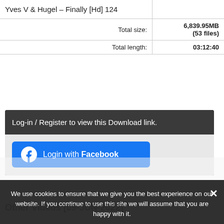| Yves V & Hugel – Finally [Hd] 124 |  |
| Total size: | 6,839.95MB
(53 files) |
| Total length: | 03:12:40 |
Log-in / Register to view this Download link.
[Figure (screenshot): Blue Facebook login button with Facebook icon and text 'Login with Facebook']
We use cookies to ensure that we give you the best experience on our website. If you continue to use this site we will assume that you are happy with it.
Got it    Read more
Other Videos [09-JUN-2022]